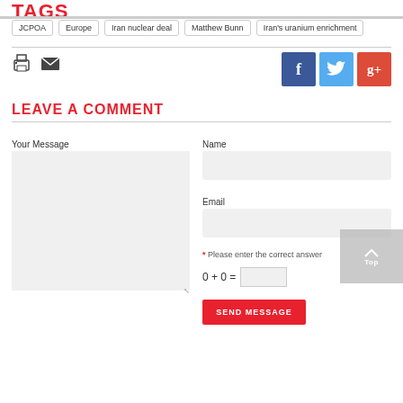TAGS
JCPOA
Europe
Iran nuclear deal
Matthew Bunn
Iran's uranium enrichment
[Figure (infographic): Print icon and email icon on the left; Facebook, Twitter, Google+ social share buttons on the right]
LEAVE A COMMENT
Your Message
Name
Email
* Please enter the correct answer
SEND MESSAGE